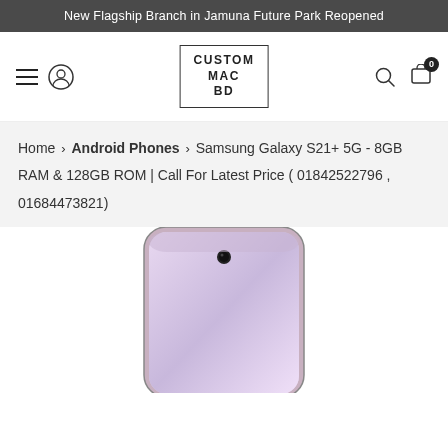New Flagship Branch in Jamuna Future Park Reopened
[Figure (logo): Custom Mac BD logo — rectangular border with text CUSTOM MAC BD inside]
Home > Android Phones > Samsung Galaxy S21+ 5G - 8GB RAM & 128GB ROM | Call For Latest Price ( 01842522796 , 01684473821)
[Figure (photo): Samsung Galaxy S21+ 5G smartphone — top portion of the phone visible, pink/lavender color with punch-hole front camera]